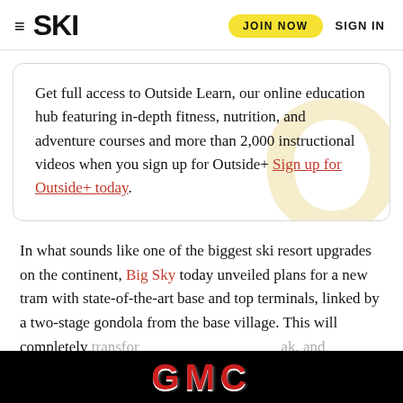≡ SKI | JOIN NOW | SIGN IN
Get full access to Outside Learn, our online education hub featuring in-depth fitness, nutrition, and adventure courses and more than 2,000 instructional videos when you sign up for Outside+ Sign up for Outside+ today.
In what sounds like one of the biggest ski resort upgrades on the continent, Big Sky today unveiled plans for a new tram with state-of-the-art base and top terminals, linked by a two-stage gondola from the base village. This will completely transform... and will also... and
[Figure (logo): GMC logo advertisement banner at bottom of page, white text on black background]